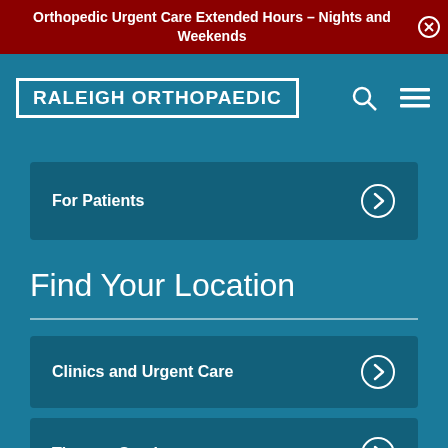Orthopedic Urgent Care Extended Hours – Nights and Weekends
[Figure (logo): Raleigh Orthopaedic logo with search and menu icons]
For Patients
Find Your Location
Clinics and Urgent Care
Therapy Services